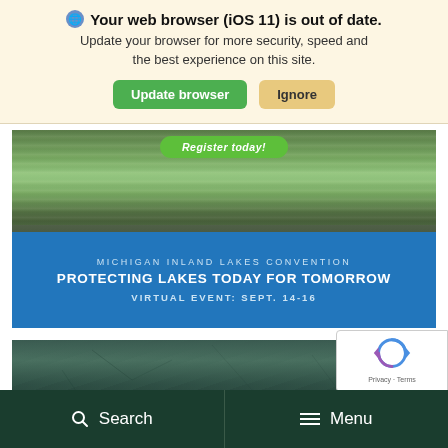Your web browser (iOS 11) is out of date. Update your browser for more security, speed and the best experience on this site.
[Figure (screenshot): Michigan Inland Lakes Convention banner with lake/water background image, green 'Register today!' button, and blue overlay text reading 'MICHIGAN INLAND LAKES CONVENTION / PROTECTING LAKES TODAY FOR TOMORROW / VIRTUAL EVENT: SEPT. 14-16']
[Figure (photo): Partial underwater or lakeside photo with teal/dark green tones]
[Figure (logo): Google reCAPTCHA badge with reCAPTCHA logo and 'Privacy - Terms' text]
Search   Menu